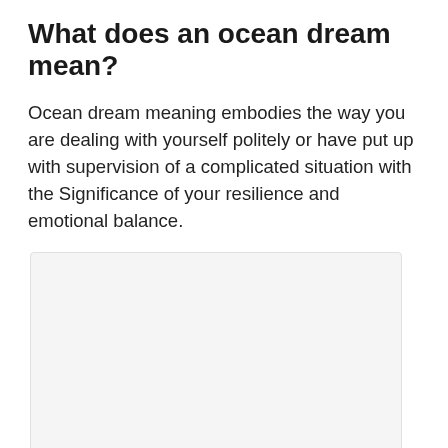What does an ocean dream mean?
Ocean dream meaning embodies the way you are dealing with yourself politely or have put up with supervision of a complicated situation with the Significance of your resilience and emotional balance.
[Figure (photo): A light gray rectangular placeholder image area with a thin border]